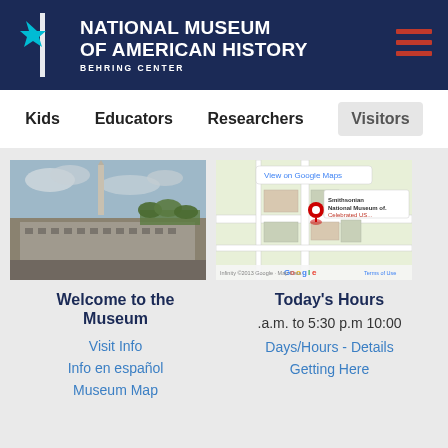NATIONAL MUSEUM OF AMERICAN HISTORY BEHRING CENTER
Kids  Educators  Researchers  Visitors
[Figure (photo): Aerial photo of the National Museum of American History building with the Washington Monument visible in the background]
[Figure (map): Google Maps screenshot showing location of Smithsonian National Museum of American History with red pin marker and 'View on Google Maps' link]
Welcome to the Museum
Today's Hours
10:00 a.m. to 5:30 p.m
Visit Info
Info en español
Museum Map
Days/Hours - Details
Getting Here